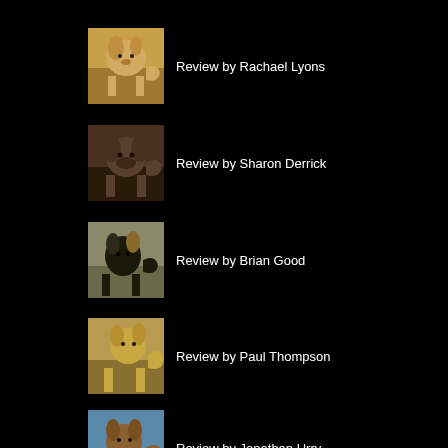[Figure (photo): Photo of a beagle/hound dog walking outdoors on dirt path]
Review by Rachael Lyons
[Figure (photo): Photo of a pug dog sitting and looking at camera, mouth open]
Review by Sharon Derrick
[Figure (photo): Photo of a black and brown dog standing outdoors]
Review by Brian Good
[Figure (photo): Photo of a dog running or playing outdoors on dry ground]
Review by Paul Thompson
[Figure (photo): Photo of a dog in water, possibly at a beach or lake]
Review by Jonathan Urry
[Figure (photo): Photo of a dog partially visible at bottom of page]
Review by Claire